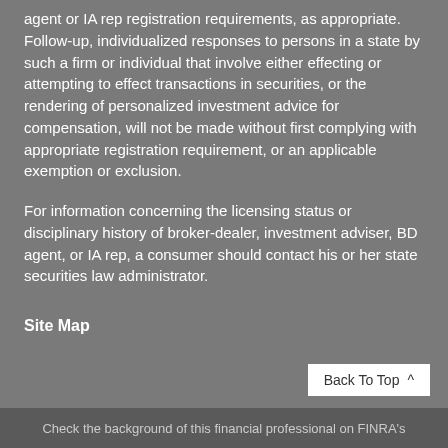agent or IA rep registration requirements, as appropriate. Follow-up, individualized responses to persons in a state by such a firm or individual that involve either effecting or attempting to effect transactions in securities, or the rendering of personalized investment advice for compensation, will not be made without first complying with appropriate registration requirement, or an applicable exemption or exclusion.
For information concerning the licensing status or disciplinary history of broker-dealer, investment adviser, BD agent, or IA rep, a consumer should contact his or her state securities law administrator.
Site Map
Check the background of this financial professional on FINRA's